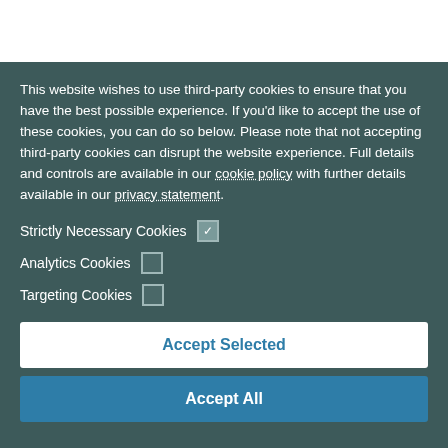This website wishes to use third-party cookies to ensure that you have the best possible experience. If you'd like to accept the use of these cookies, you can do so below. Please note that not accepting third-party cookies can disrupt the website experience. Full details and controls are available in our cookie policy with further details available in our privacy statement.
Strictly Necessary Cookies  ☑
Analytics Cookies  ☐
Targeting Cookies  ☐
Accept Selected
Accept All